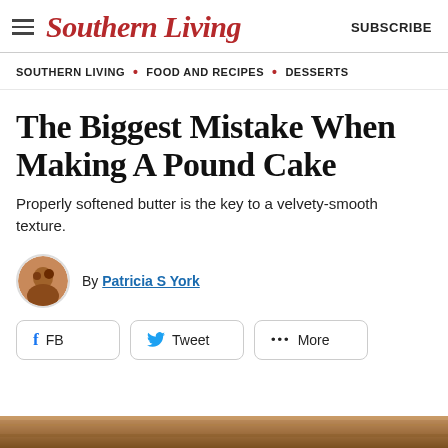Southern Living  SUBSCRIBE
SOUTHERN LIVING • FOOD AND RECIPES • DESSERTS
The Biggest Mistake When Making A Pound Cake
Properly softened butter is the key to a velvety-smooth texture.
By Patricia S York
[Figure (other): Social share buttons: FB, Tweet, More]
[Figure (photo): Partial bottom image of a pound cake or related food photo]